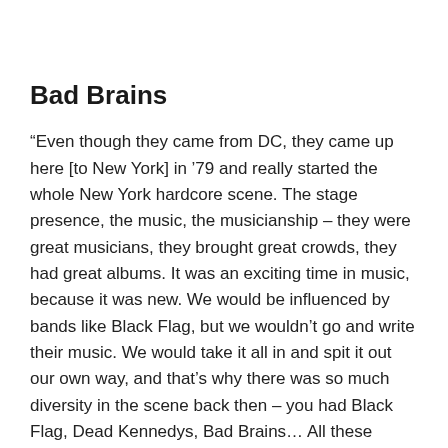Bad Brains
“Even though they came from DC, they came up here [to New York] in ’79 and really started the whole New York hardcore scene. The stage presence, the music, the musicianship – they were great musicians, they brought great crowds, they had great albums. It was an exciting time in music, because it was new. We would be influenced by bands like Black Flag, but we wouldn’t go and write their music. We would take it all in and spit it out our own way, and that’s why there was so much diversity in the scene back then – you had Black Flag, Dead Kennedys, Bad Brains… All these different bands that all sounded different”